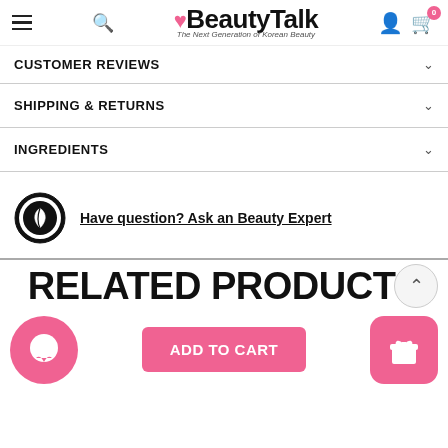BeautyTalk — The Next Generation of Korean Beauty
CUSTOMER REVIEWS
SHIPPING & RETURNS
INGREDIENTS
Have question? Ask an Beauty Expert
RELATED PRODUCTS
ADD TO CART